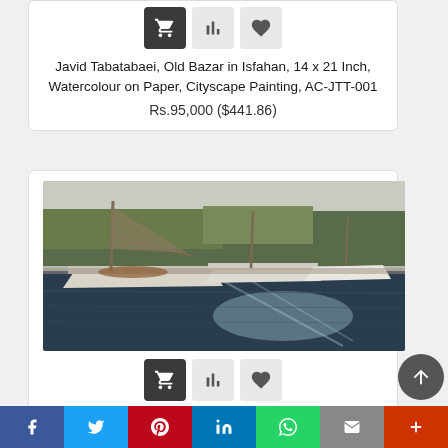Javid Tabatabaei, Old Bazar in Isfahan, 14 x 21 Inch, Watercolour on Paper, Cityscape Painting, AC-JTT-001
Rs.95,000 ($441.86)
[Figure (photo): Watercolour painting of boats moored in a harbour with reflections on water and trees in background]
Joe Francis Dowden, Untitled, 11 x 16 Inch, Watercolour on Paper, Seascape Painting, AC-JFD-004
Rs.95,000 ($441.86)